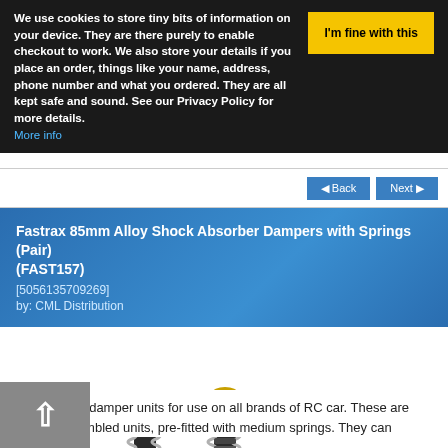We use cookies to store tiny bits of information on your device. They are there purely to enable checkout to work. We also store your details if you place an order, things like your name, address, phone number and what you ordered. They are all kept safe and sound. See our Privacy Policy for more details. More info | I'm fine with this
Fastrax 85mm Alloy Shock Absorber Dampers with Springs (Pair) (FAST157)
[5056135709269]
by: CML Distribution
[Figure (photo): Photo of two Fastrax 85mm alloy shock absorber dampers with springs (pair), shown with hardware components including screws, washers, and O-rings on a white background.]
replacement damper units for use on all brands of RC car. These are factory assembled units, pre-fitted with medium springs. They can